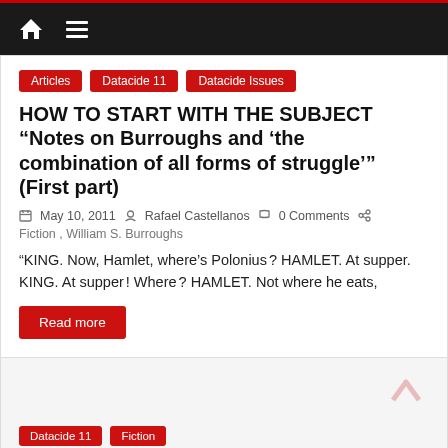Navigation bar with home icon and hamburger menu
Articles
Datacide 11
Datacide Issues
HOW TO START WITH THE SUBJECT “Notes on Burroughs and ‘the combination of all forms of struggle’” (First part)
May 10, 2011  Rafael Castellanos  0 Comments
Fiction , William S. Burroughs
“KING. Now, Hamlet, where’s Polonius ? HAMLET. At supper. KING. At supper ! Where ? HAMLET. Not where he eats,
Read more
Datacide 11
Fiction